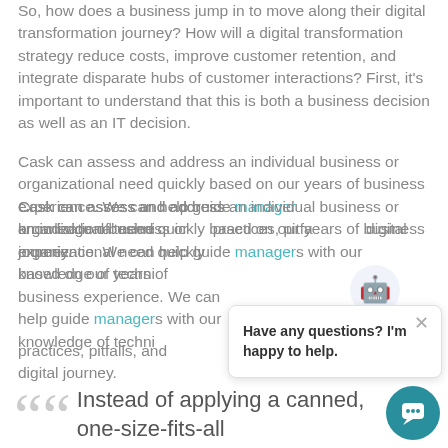So, how does a business jump in to move along their digital transformation journey? How will a digital transformation strategy reduce costs, improve customer retention, and integrate disparate hubs of customer interactions? First, it's important to understand that this is both a business decision as well as an IT decision.
Cask can assess and address an individual business or organizational need quickly based on our years of business experience. We can help guide managers with our knowledge of technical best practices, pitfalls, and digital journey.
[Figure (screenshot): Chat widget overlay with robot/bot icon and message: Have any questions? I'm happy to help. with a close X button.]
Instead of applying a canned, one-size-fits-all